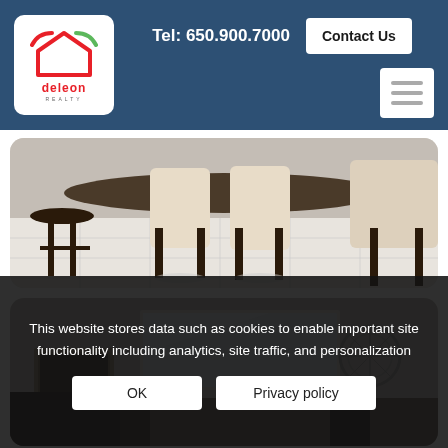Tel: 650.900.7000  Contact Us
[Figure (photo): Deleon Realty logo with house outline icon in red and green on white background]
[Figure (photo): Interior photo showing dining chairs and bar stools on white tile floor]
[Figure (photo): Interior photo showing a room with a large mirror/artwork and a round decorative wall piece]
This website stores data such as cookies to enable important site functionality including analytics, site traffic, and personalization
OK
Privacy policy